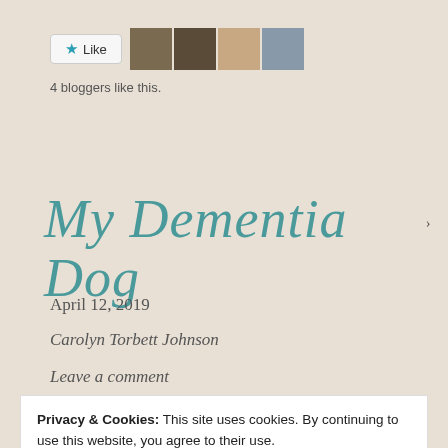[Figure (other): Like button with star icon and four blogger avatar thumbnails]
4 bloggers like this.
My Dementia Dog
April 12, 2019
Carolyn Torbett Johnson
Leave a comment
Privacy & Cookies: This site uses cookies. By continuing to use this website, you agree to their use.
To find out more, including how to control cookies, see here: Cookie Policy
Close and accept